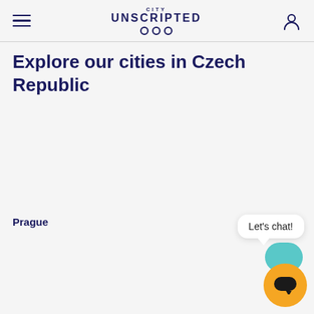City Unscripted
Explore our cities in Czech Republic
Prague
Let's chat!